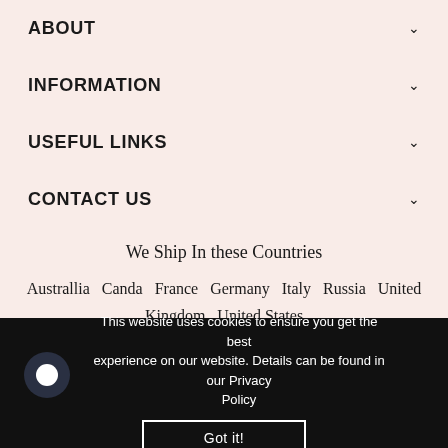ABOUT
INFORMATION
USEFUL LINKS
CONTACT US
We Ship In these Countries
Australlia   Canda   France   Germany   Italy   Russia   United Kingdom   United States
This website uses cookies to ensure you get the best experience on our website. Details can be found in our Privacy Policy
Got it!